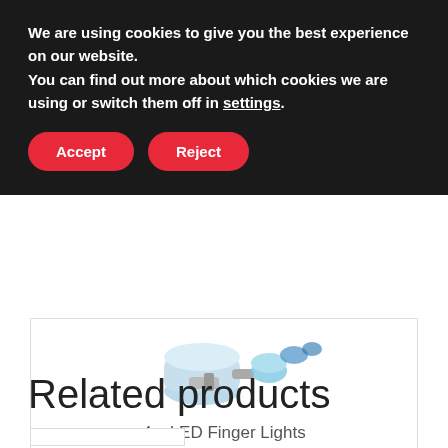We are using cookies to give you the best experience on our website.
You can find out more about which cookies we are using or switch them off in settings.
Accept
Reject
[Figure (photo): Partially visible product image of LED Finger Lights - small transparent light-up devices in blue/clear colors]
4 x LED Finger Lights
£2.99
ADD TO BASKET
Related products